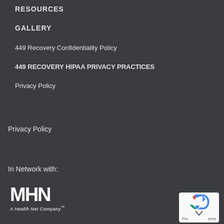RESOURCES
GALLERY
449 Recovery Confidentiality Policy
449 RECOVERY HIPAA PRIVACY PRACTICES
Privacy Policy
Privacy Policy
In Network with:
[Figure (logo): MHN - A Health Net Company logo in white on dark background]
[Figure (other): reCAPTCHA widget showing arrows and Priv./Terms labels]